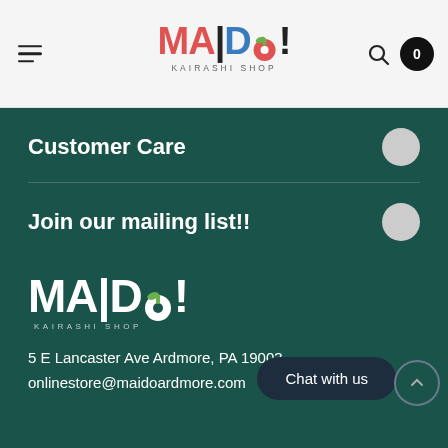[Figure (logo): MAIDO! Kairashi Shop logo in header — colorful letters on light background]
Customer Care
Join our mailing list!!
[Figure (logo): MAIDO! Kairashi Shop logo in white on dark green background]
5 E Lancaster Ave Ardmore, PA 19003
onlinestore@maidoardmore.com
Chat with us